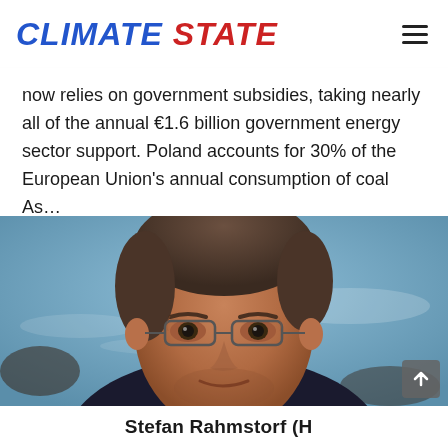CLIMATE STATE
now relies on government subsidies, taking nearly all of the annual €1.6 billion government energy sector support. Poland accounts for 30% of the European Union's annual consumption of coal As…
[Figure (photo): Close-up portrait of a middle-aged man with glasses, short grey-brown hair, wearing a dark shirt, with a blurred ocean/coastal background]
Stefan Rahmstorf (or similar person name — partially visible caption)